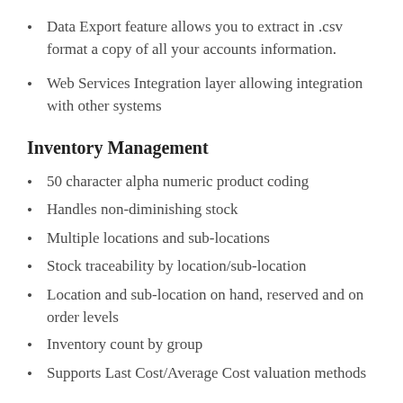Data Export feature allows you to extract in .csv format a copy of all your accounts information.
Web Services Integration layer allowing integration with other systems
Inventory Management
50 character alpha numeric product coding
Handles non-diminishing stock
Multiple locations and sub-locations
Stock traceability by location/sub-location
Location and sub-location on hand, reserved and on order levels
Inventory count by group
Supports Last Cost/Average Cost valuation methods